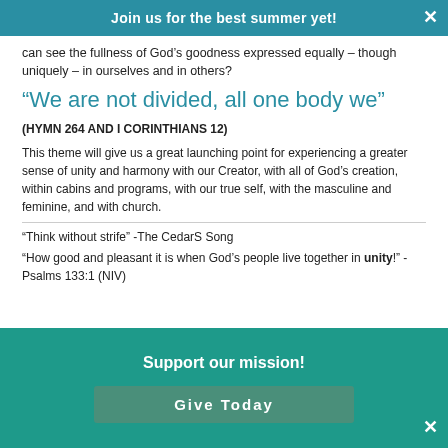Join us for the best summer yet!
can see the fullness of God’s goodness expressed equally – though uniquely – in ourselves and in others?
“We are not divided, all one body we”
(HYMN 264 AND I CORINTHIANS 12)
This theme will give us a great launching point for experiencing a greater sense of unity and harmony with our Creator, with all of God’s creation, within cabins and programs, with our true self, with the masculine and feminine, and with church.
“Think without strife” -The CedarS Song
“How good and pleasant it is when God’s people live together in unity!” -Psalms 133:1 (NIV)
Support our mission!
Give Today